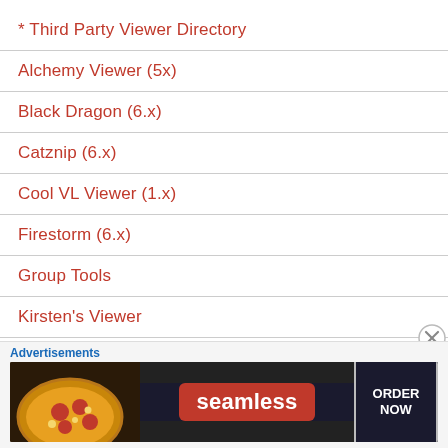* Third Party Viewer Directory
Alchemy Viewer (5x)
Black Dragon (6.x)
Catznip (6.x)
Cool VL Viewer (1.x)
Firestorm (6.x)
Group Tools
Kirsten's Viewer
Kokua (6.x)
LL Alternate Viewers (RC and Project)
Advertisements
[Figure (infographic): Seamless food delivery advertisement banner with pizza image, Seamless logo, and ORDER NOW button]